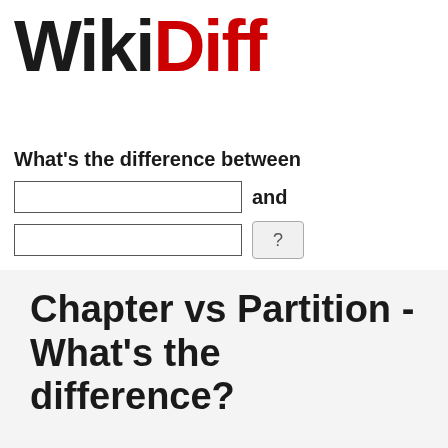[Figure (logo): WikiDiff logo with 'Wiki' in black bold and 'Diff' in red bold large text]
What's the difference between
Chapter vs Partition - What's the difference?